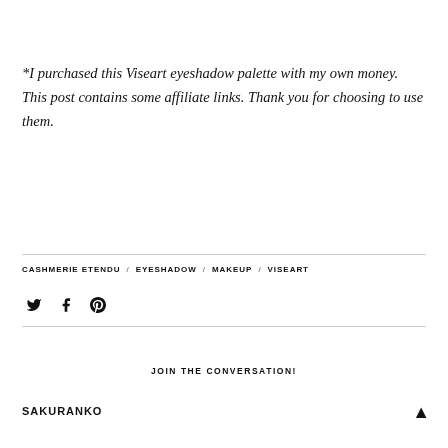*I purchased this Viseart eyeshadow palette with my own money. This post contains some affiliate links. Thank you for choosing to use them.
CASHMERIE ETENDU / EYESHADOW / MAKEUP / VISEART
JOIN THE CONVERSATION!
SAKURANKO